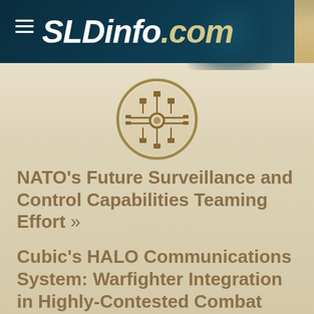SLDinfo.com
[Figure (logo): Circular emblem/logo with circuit board or military electronics motif in gold/tan color scheme]
NATO's Future Surveillance and Control Capabilities Teaming Effort »
Cubic's HALO Communications System: Warfighter Integration in Highly-Contested Combat Environments »